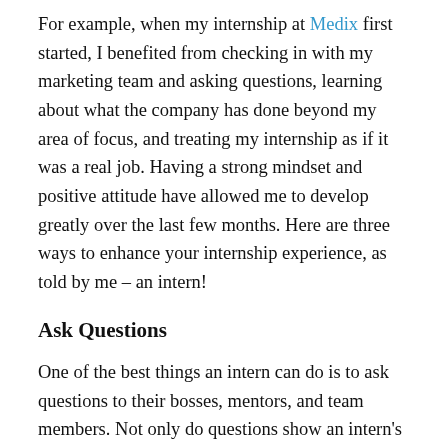For example, when my internship at Medix first started, I benefited from checking in with my marketing team and asking questions, learning about what the company has done beyond my area of focus, and treating my internship as if it was a real job. Having a strong mindset and positive attitude have allowed me to develop greatly over the last few months. Here are three ways to enhance your internship experience, as told by me – an intern!
Ask Questions
One of the best things an intern can do is to ask questions to their bosses, mentors, and team members. Not only do questions show an intern's